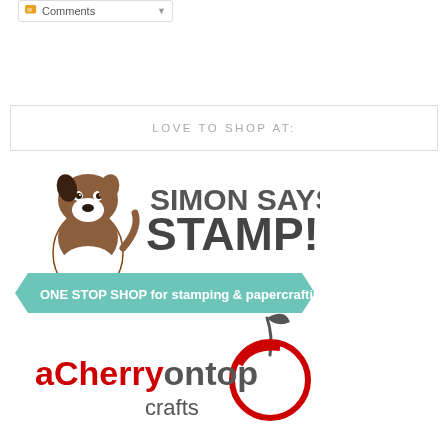Comments
LOVE TO SHOP AT:
[Figure (logo): Simon Says Stamp logo with Boston Terrier dog illustration. Text reads SIMON SAYS STAMP! ONE STOP SHOP for stamping & papercrafting!]
[Figure (logo): A Cherry On Top Crafts logo with red cherry illustration]